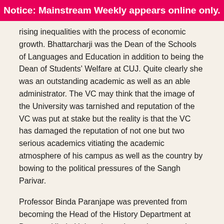Notice: Mainstream Weekly appears online only.
rising inequalities with the process of economic growth. Bhattarcharji was the Dean of the Schools of Languages and Education in addition to being the Dean of Students' Welfare at CUJ. Quite clearly she was an outstanding academic as well as an able administrator. The VC may think that the image of the University was tarnished and reputation of the VC was put at stake but the reality is that the VC has damaged the reputation of not one but two serious academics vitiating the academic atmosphere of his campus as well as the country by bowing to the political pressures of the Sangh Parivar.
Professor Binda Paranjape was prevented from becoming the Head of the History Department at Banaras Hindu University, as it was her turn going by the rules, when Aruna Sinha was made the Head for the third time against the provisions of the BHU Act. Corruption charges have been proved against Sinha in the past and the amount recovered